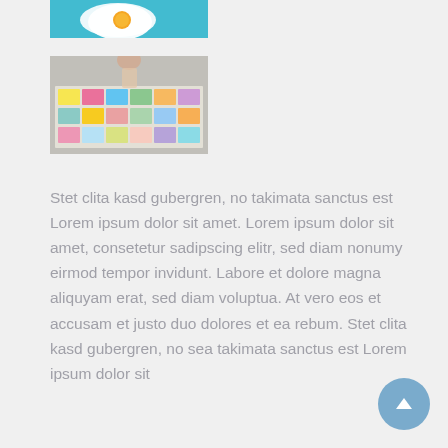[Figure (photo): Photo of a fried egg on a blue background, partially cropped at top]
[Figure (photo): Photo of people working around a table covered with colorful sticky notes and papers]
Stet clita kasd gubergren, no takimata sanctus est Lorem ipsum dolor sit amet. Lorem ipsum dolor sit amet, consetetur sadipscing elitr, sed diam nonumy eirmod tempor invidunt. Labore et dolore magna aliquyam erat, sed diam voluptua. At vero eos et accusam et justo duo dolores et ea rebum. Stet clita kasd gubergren, no sea takimata sanctus est Lorem ipsum dolor sit